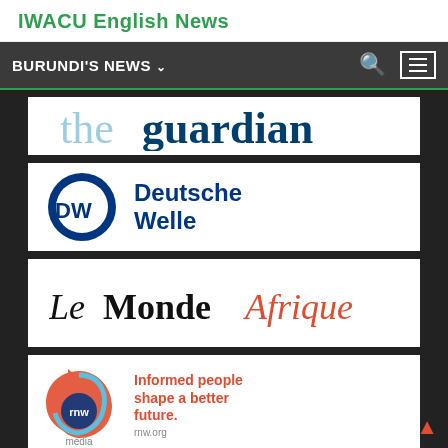IWACU English News
BURUNDI'S NEWS
[Figure (logo): The Guardian logo - 'the' in light blue, 'guardian' in dark blue, serif bold font]
[Figure (logo): Deutsche Welle (DW) logo - circular DW emblem in dark navy with 'Deutsche Welle' text in dark blue]
[Figure (logo): Le Monde Afrique logo - 'Le Monde' in black blackletter/serif, 'Afrique' in orange-red italic]
[Figure (logo): RNW Media logo with tagline 'Informed people shape a better future.' and rnw.org]